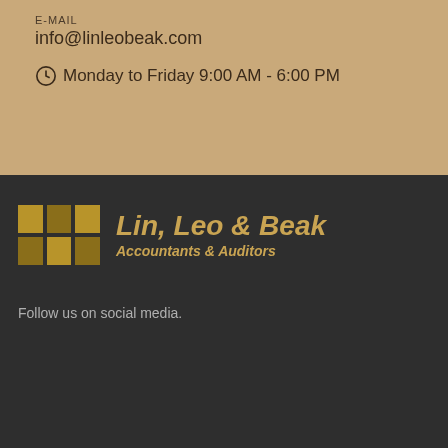E-MAIL
info@linleobeak.com
Monday to Friday 9:00 AM - 6:00 PM
[Figure (logo): Lin, Leo & Beak Accountants & Auditors logo with golden grid squares and italic bold text]
Follow us on social media.
[Figure (infographic): Facebook and LinkedIn social media icon buttons (square bordered), and a gold Message button with chat bubble icon]